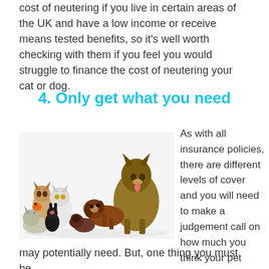cost of neutering if you live in certain areas of the UK and have a low income or receive means tested benefits, so it's well worth checking with them if you feel you would struggle to finance the cost of neutering your cat or dog.
4. Only get what you need
[Figure (photo): Group of various pets including cats, dogs, puppies, a rabbit, and a bird arranged together on a white background]
As with all insurance policies, there are different levels of cover and you will need to make a judgement call on how much you think your pet may potentially need. But, one thing you must be